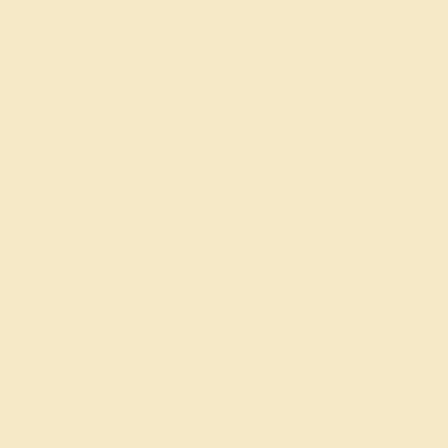asics shoes
coach outlet store
moncler jackets
coach factory outlet
fred perry
michael kors outlet cle
christian louboutin
moncler uk
oakley sunglasses
michael kors canada
cheap jordans
canada goose sale
moncler
timberland outlet
fitflops sale clearance
air jordans
louis vuitton outlet onl
pandora charms
kate spade handbags
kate spade outlet
pandora charms sale
coach outlet
uggs outlet
yeezy boost 350
ralph lauren outlet
coach outlet online
prada handbags